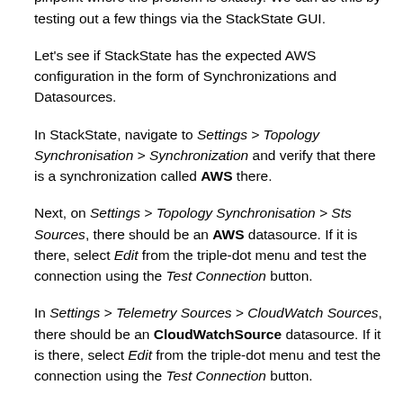If the above items don't resolve the issue, let's try to pinpoint where the problem is exactly. We can do this by testing out a few things via the StackState GUI.
Let's see if StackState has the expected AWS configuration in the form of Synchronizations and Datasources.
In StackState, navigate to Settings > Topology Synchronisation > Synchronization and verify that there is a synchronization called AWS there.
Next, on Settings > Topology Synchronisation > Sts Sources, there should be an AWS datasource. If it is there, select Edit from the triple-dot menu and test the connection using the Test Connection button.
In Settings > Telemetry Sources > CloudWatch Sources, there should be an CloudWatchSource datasource. If it is there, select Edit from the triple-dot menu and test the connection using the Test Connection button.